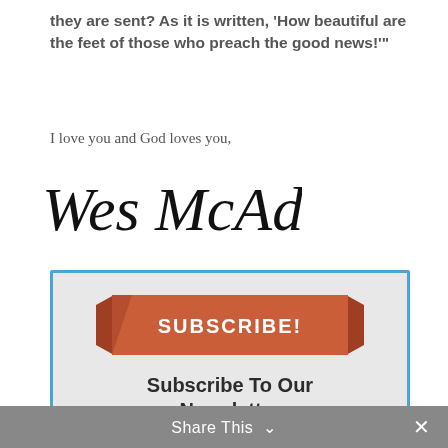they are sent? As it is written, ‘How beautiful are the feet of those who preach the good news!’”
I love you and God loves you,
[Figure (illustration): Handwritten cursive signature reading 'Wes McAdams']
[Figure (infographic): Subscribe box with ribbon banner saying SUBSCRIBE!, heading 'Subscribe To Our Newsletter', and subtext 'Join our mailing list to receive the latest blog posts as soon as they are published.']
Share This ∨  ×